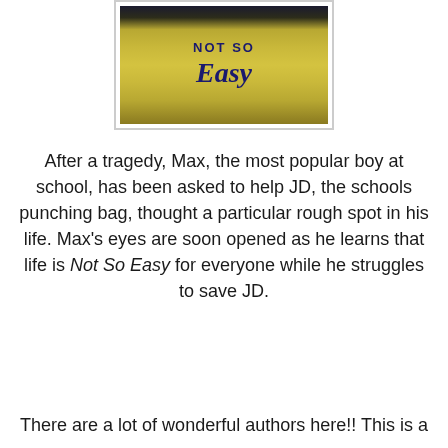[Figure (photo): Photo of a person wearing a yellow/olive colored shirt with 'Not So Easy' text printed on it in dark navy blue. The top portion of the image shows text 'Not So' in uppercase block letters and 'Easy' in large italic cursive letters below.]
After a tragedy, Max, the most popular boy at school, has been asked to help JD, the schools punching bag, thought a particular rough spot in his life. Max's eyes are soon opened as he learns that life is Not So Easy for everyone while he struggles to save JD.
There are a lot of wonderful authors here!! This is a